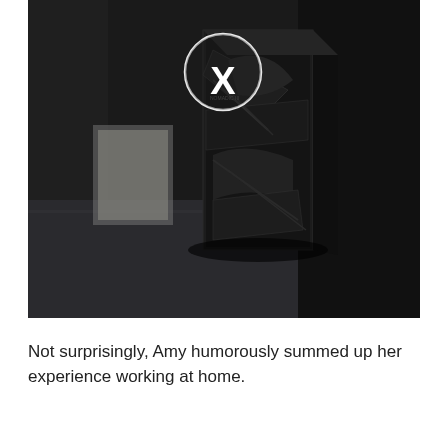[Figure (photo): A dark, moody photograph of a product box (appears to be a decorative or printed box with black and white graphic art) standing upright on a surface. The background is very dark. A white circle with an X symbol appears in the upper portion of the image, overlaid on the photo.]
Not surprisingly, Amy humorously summed up her experience working at home.